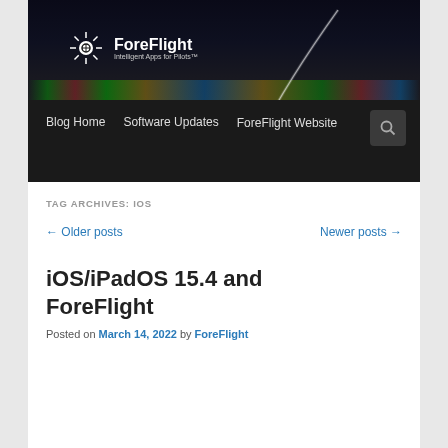[Figure (photo): ForeFlight blog header banner showing night airport scene with runway lights and a light streak arc across the dark sky. ForeFlight logo with sunburst icon and tagline 'Intelligent Apps for Pilots' visible in upper left.]
Blog Home   Software Updates   ForeFlight Website
TAG ARCHIVES: IOS
← Older posts   Newer posts →
iOS/iPadOS 15.4 and ForeFlight
Posted on March 14, 2022 by ForeFlight